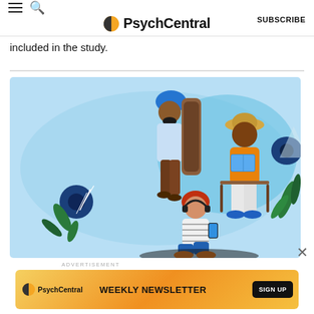PsychCentral | SUBSCRIBE
included in the study.
[Figure (illustration): Colorful illustration of three diverse people in a light blue setting with plants and flowers: a person with a blue turban carrying a guitar case, a person in an orange floral shirt seated in a chair reading, and a person with red hair sitting on the ground using a phone.]
ADVERTISEMENT
[Figure (infographic): PsychCentral Weekly Newsletter sign-up banner advertisement with orange/yellow gradient background. Shows PsychCentral logo on left, 'WEEKLY NEWSLETTER' text in center, and a 'SIGN UP' button on right.]